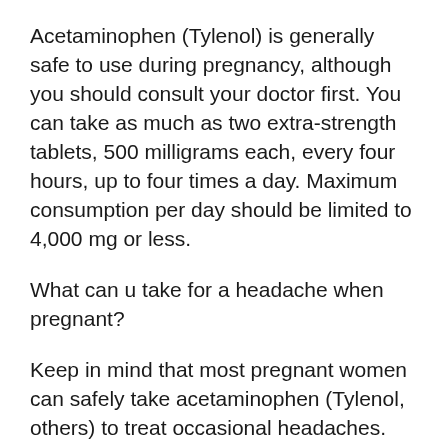Acetaminophen (Tylenol) is generally safe to use during pregnancy, although you should consult your doctor first. You can take as much as two extra-strength tablets, 500 milligrams each, every four hours, up to four times a day. Maximum consumption per day should be limited to 4,000 mg or less.
What can u take for a headache when pregnant?
Keep in mind that most pregnant women can safely take acetaminophen (Tylenol, others) to treat occasional headaches. Your health care provider might recommend other medications as well. Make sure you have the OK from your health care provider before taking any medications, including herbal...